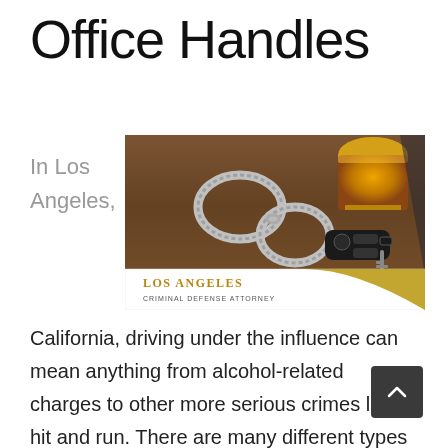Office Handles
In Los Angeles,
[Figure (photo): Photo of handcuffs, car keys, and a glass of whiskey on a wooden table. Below the photo is text reading 'LOS ANGELES CRIMINAL DEFENSE ATTORNEY' with a gold curved decorative element.]
California, driving under the influence can mean anything from alcohol-related charges to other more serious crimes like hit and run. There are many different types of DUI charges that people could face depending on their situation. Bel